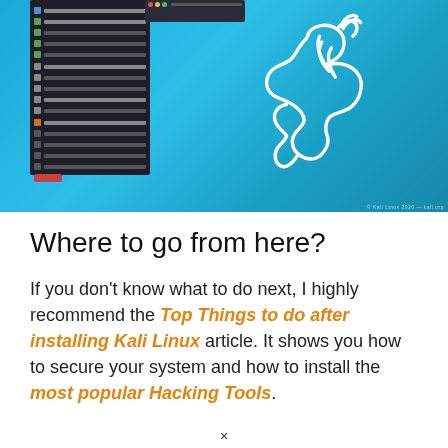[Figure (screenshot): Kali Linux desktop screenshot showing the Kali dragon logo on a blue gradient background, with a dark application menu panel on the left side listing security tools, and a terminal window overlay.]
Where to go from here?
If you don't know what to do next, I highly recommend the Top Things to do after installing Kali Linux article. It shows you how to secure your system and how to install the most popular Hacking Tools.